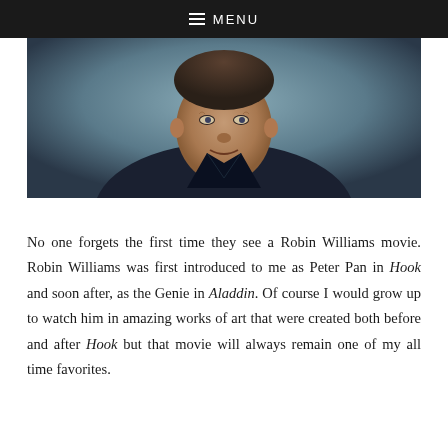≡ MENU
[Figure (photo): Black and white portrait photograph of Robin Williams, a middle-aged man with short hair, wearing a dark jacket, looking at the camera with a slight smile, against a light blue-grey background.]
No one forgets the first time they see a Robin Williams movie. Robin Williams was first introduced to me as Peter Pan in Hook and soon after, as the Genie in Aladdin. Of course I would grow up to watch him in amazing works of art that were created both before and after Hook but that movie will always remain one of my all time favorites.